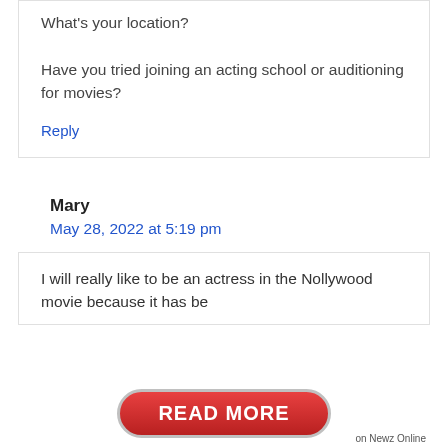What's your location?

Have you tried joining an acting school or auditioning for movies?
Reply
Mary
May 28, 2022 at 5:19 pm
I will really like to be an actress in the Nollywood movie because it has be
[Figure (other): Red rounded button with white bold text saying READ MORE, with 'on Newz Online' text to the right]